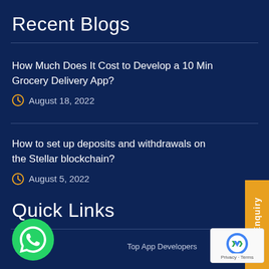Recent Blogs
How Much Does It Cost to Develop a 10 Min Grocery Delivery App?
August 18, 2022
How to set up deposits and withdrawals on the Stellar blockchain?
August 5, 2022
Quick Links
Quick Enquiry
Top App Developers
[Figure (logo): WhatsApp green round button icon]
[Figure (logo): reCAPTCHA badge with privacy and terms text]